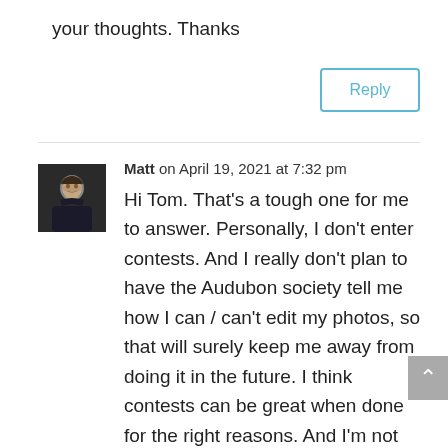your thoughts. Thanks
Reply
Matt on April 19, 2021 at 7:32 pm
[Figure (photo): Avatar photo of Matt, a man with dark hair and beard against a dark background]
Hi Tom. That's a tough one for me to answer. Personally, I don't enter contests. And I really don't plan to have the Audubon society tell me how I can / can't edit my photos, so that will surely keep me away from doing it in the future. I think contests can be great when done for the right reasons. And I'm not saying I'll never submit a photo to a